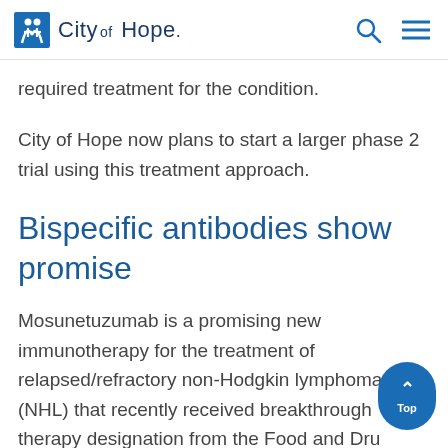City of Hope
required treatment for the condition.
City of Hope now plans to start a larger phase 2 trial using this treatment approach.
Bispecific antibodies show promise
Mosunetuzumab is a promising new immunotherapy for the treatment of relapsed/refractory non-Hodgkin lymphoma (NHL) that recently received breakthrough therapy designation from the Food and Drug Administration. The designation is intended to